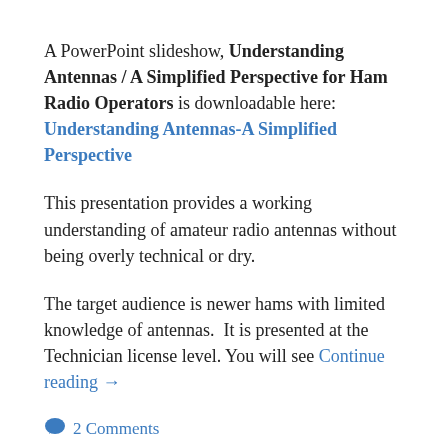A PowerPoint slideshow, Understanding Antennas / A Simplified Perspective for Ham Radio Operators is downloadable here: Understanding Antennas-A Simplified Perspective
This presentation provides a working understanding of amateur radio antennas without being overly technical or dry.
The target audience is newer hams with limited knowledge of antennas.  It is presented at the Technician license level. You will see Continue reading →
💬 2 Comments